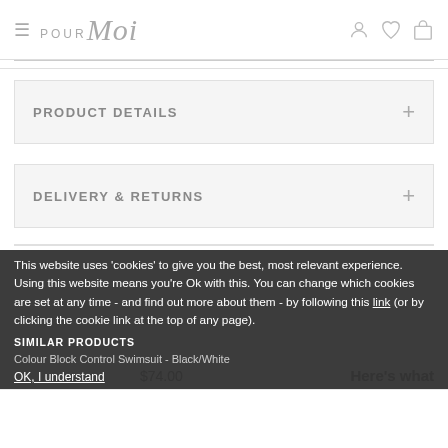Pour Moi — navigation header with hamburger menu, logo, and icons
PRODUCT DETAILS +
DELIVERY & RETURNS +
This website uses 'cookies' to give you the best, most relevant experience. Using this website means you're Ok with this. You can change which cookies are set at any time - and find out more about them - by following this link (or by clicking the cookie link at the top of any page).
SIMILAR PRODUCTS
Colour Block Control Swimsuit - Black/White
OK, I understand
$74.00
Here's what